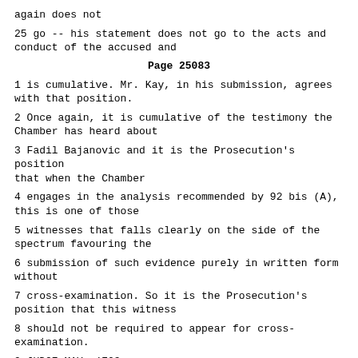again does not
25 go -- his statement does not go to the acts and conduct of the accused and
Page 25083
1 is cumulative. Mr. Kay, in his submission, agrees with that position.
2 Once again, it is cumulative of the testimony the Chamber has heard about
3 Fadil Bajanovic and it is the Prosecution's position that when the Chamber
4 engages in the analysis recommended by 92 bis (A), this is one of those
5 witnesses that falls clearly on the side of the spectrum favouring the
6 submission of such evidence purely in written form without
7 cross-examination. So it is the Prosecution's position that this witness
8 should not be required to appear for cross-examination.
9 JUDGE MAY: 1703